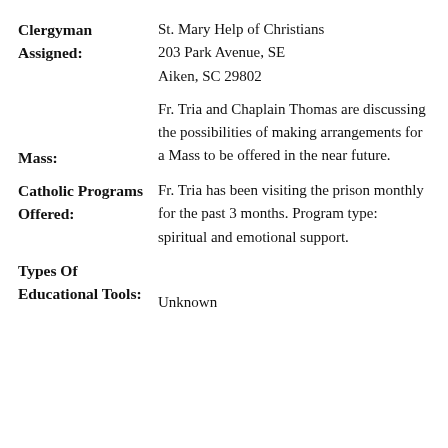Clergyman Assigned: St. Mary Help of Christians, 203 Park Avenue, SE, Aiken, SC 29802
Mass: Fr. Tria and Chaplain Thomas are discussing the possibilities of making arrangements for a Mass to be offered in the near future.
Catholic Programs Offered: Fr. Tria has been visiting the prison monthly for the past 3 months. Program type: spiritual and emotional support.
Types Of Educational Tools: Unknown